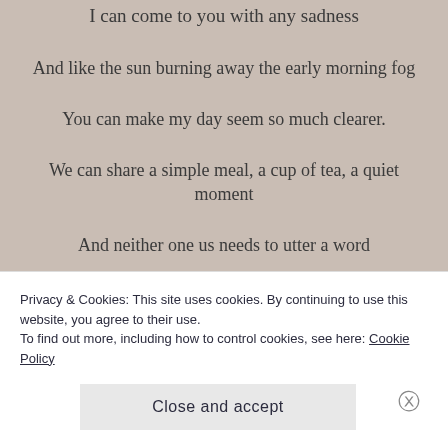I can come to you with any sadness
And like the sun burning away the early morning fog
You can make my day seem so much clearer.
We can share a simple meal, a cup of tea, a quiet moment
And neither one us needs to utter a word
Privacy & Cookies: This site uses cookies. By continuing to use this website, you agree to their use.
To find out more, including how to control cookies, see here: Cookie Policy